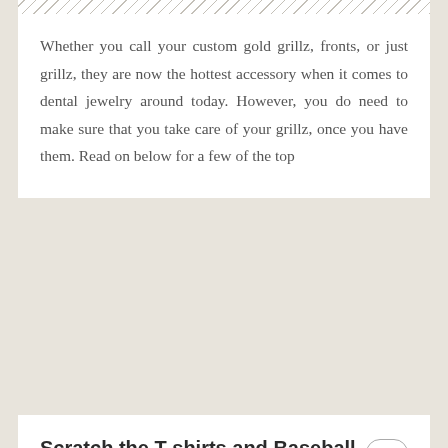Whether you call your custom gold grillz, fronts, or just grillz, they are now the hottest accessory when it comes to dental jewelry around today. However, you do need to make sure that you take care of your grillz, once you have them. Read on below for a few of the top
Scratch the T-shirts and Baseball Caps Off Your Marketing Plan
Written on October 28, 2021 by admin in Shopping
Open your mind just a bit before you keep reading. You are going to remove the personalized T-shirts and baseball caps from your marketing strategy. Why? Because they have been done repeatedly. It doesn't matter if your tees look really